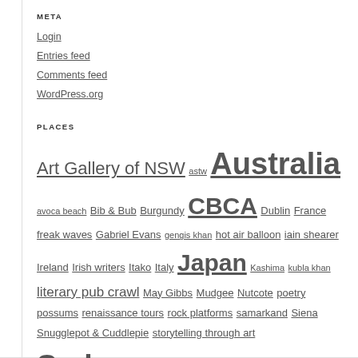META
Login
Entries feed
Comments feed
WordPress.org
PLACES
Art Gallery of NSW astw Australia avoca beach Bib & Bub Burgundy CBCA Dublin France freak waves Gabriel Evans gengis khan hot air balloon iain shearer Ireland Irish writers Itako Italy Japan Kashima kubla khan literary pub crawl May Gibbs Mudgee Nutcote poetry possums renaissance tours rock platforms samarkand Siena Snugglepot & Cuddlepie storytelling through art Sydney The School Magazine uzbekistan